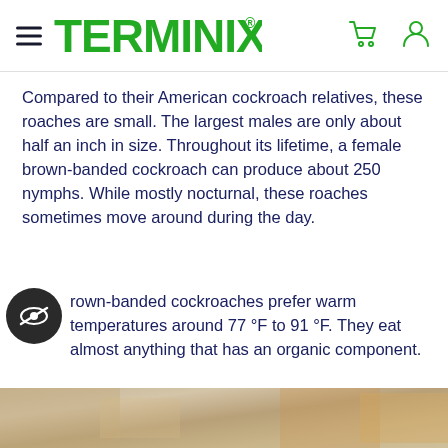TERMINIX®
Compared to their American cockroach relatives, these roaches are small. The largest males are only about half an inch in size. Throughout its lifetime, a female brown-banded cockroach can produce about 250 nymphs. While mostly nocturnal, these roaches sometimes move around during the day.
Brown-banded cockroaches prefer warm temperatures around 77 °F to 91 °F. They eat almost anything that has an organic component.
[Figure (photo): Close-up photo of a cockroach or textured surface, partially visible at the bottom of the page]